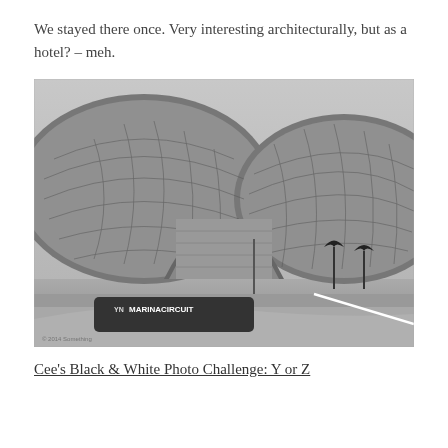We stayed there once. Very interesting architecturally, but as a hotel? – meh.
[Figure (photo): Black and white photograph of a uniquely shaped architectural building, the Yas Viceroy Hotel in Abu Dhabi, featuring a distinctive lattice/mesh shell structure. In the foreground is a sign reading 'YAS MARINACIRCUIT'.]
Cee's Black & White Photo Challenge: Y or Z